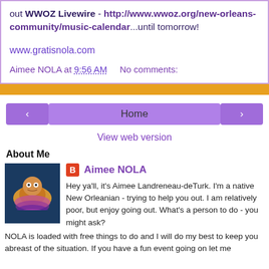out WWOZ Livewire - http://www.wwoz.org/new-orleans-community/music-calendar...until tomorrow!
www.gratisnola.com
Aimee NOLA at 9:56 AM    No comments:
< Home > View web version
About Me
Aimee NOLA
Hey ya'll, it's Aimee Landreneau-deTurk. I'm a native New Orleanian - trying to help you out. I am relatively poor, but enjoy going out. What's a person to do - you might ask? NOLA is loaded with free things to do and I will do my best to keep you abreast of the situation. If you have a fun event going on let me